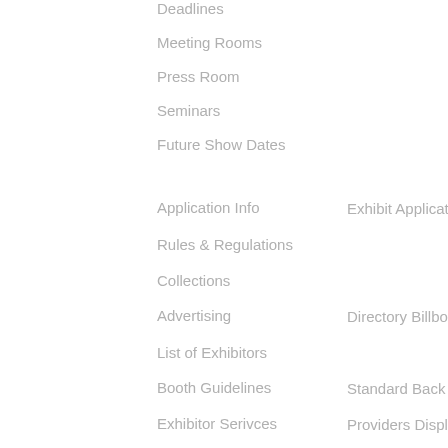Deadlines
Meeting Rooms
Press Room
Seminars
Future Show Dates
Application Info
Rules & Regulations
Collections
Advertising
List of Exhibitors
Booth Guidelines
Exhibitor Serivces
Download Forms